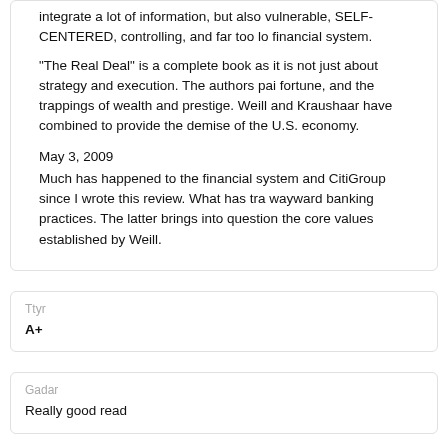integrate a lot of information, but also vulnerable, SELF-CENTERED, controlling, and far too lo financial system.
"The Real Deal" is a complete book as it is not just about strategy and execution. The authors pai fortune, and the trappings of wealth and prestige. Weill and Kraushaar have combined to provide the demise of the U.S. economy.
May 3, 2009
Much has happened to the financial system and CitiGroup since I wrote this review. What has tra wayward banking practices. The latter brings into question the core values established by Weill.
Ttyr
A+
Gadar
Really good read
MOQ
An incredible business leader, wealth builder and philanthropist.